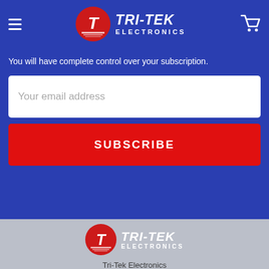[Figure (logo): Tri-Tek Electronics logo with red circle T icon and white bold italic TRI-TEK ELECTRONICS text on blue header bar]
You will have complete control over your subscription.
Your email address
SUBSCRIBE
[Figure (logo): Tri-Tek Electronics footer logo with red circle T icon and white bold italic TRI-TEK ELECTRONICS text on grey background]
Tri-Tek Electronics
40 W. Baseline Rd.
Ste. #101
Mesa, AZ 85210